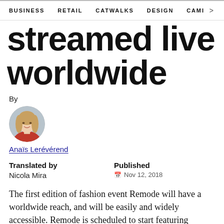BUSINESS   RETAIL   CATWALKS   DESIGN   CAMI   >
streamed live worldwide
By
[Figure (photo): Circular portrait photo of author Anaïs Lerévérend, a woman with long blonde hair wearing a red top, photographed in an office-like setting.]
Anaïs Lerévérend
Translated by
Nicola Mira
Published
Nov 12, 2018
The first edition of fashion event Remode will have a worldwide reach, and will be easily and widely accessible. Remode is scheduled to start featuring